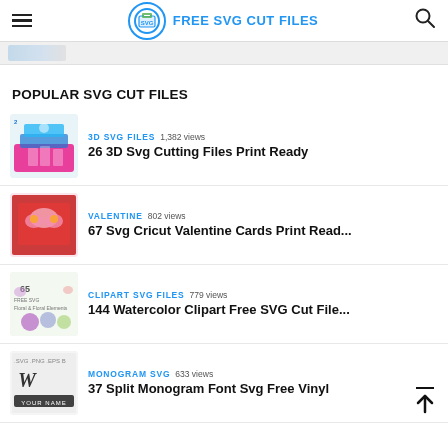FREE SVG CUT FILES
[Figure (photo): Partial thumbnail image of a craft project visible at the top]
POPULAR SVG CUT FILES
3D SVG FILES  1,382 views
26 3D Svg Cutting Files Print Ready
VALENTINE  802 views
67 Svg Cricut Valentine Cards Print Read...
CLIPART SVG FILES  779 views
144 Watercolor Clipart Free SVG Cut File...
MONOGRAM SVG  633 views
37 Split Monogram Font Svg Free Vinyl